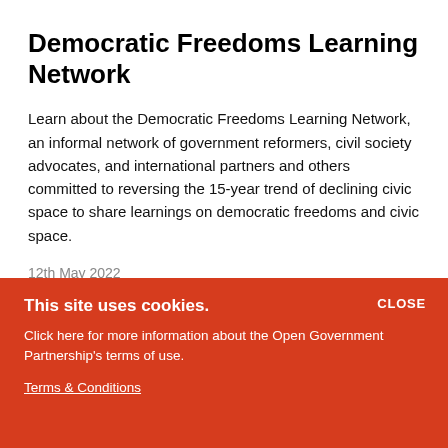Democratic Freedoms Learning Network
Learn about the Democratic Freedoms Learning Network, an informal network of government reformers, civil society advocates, and international partners and others committed to reversing the 15-year trend of declining civic space to share learnings on democratic freedoms and civic space.
12th May 2022
This site uses cookies.
Click here for more information about the Open Government Partnership's terms of use.
Terms & Conditions